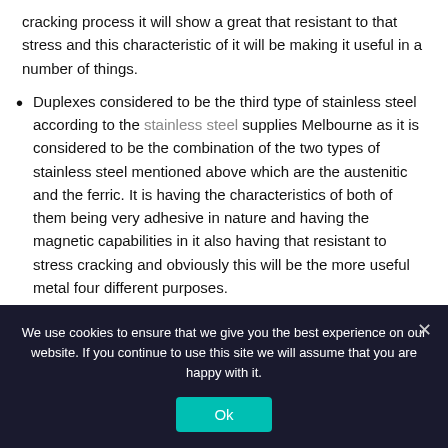cracking process it will show a great that resistant to that stress and this characteristic of it will be making it useful in a number of things.
Duplexes considered to be the third type of stainless steel according to the stainless steel supplies Melbourne as it is considered to be the combination of the two types of stainless steel mentioned above which are the austenitic and the ferric. It is having the characteristics of both of them being very adhesive in nature and having the magnetic capabilities in it also having that resistant to stress cracking and obviously this will be the more useful metal four different purposes.
Posted in  Auto Services
We use cookies to ensure that we give you the best experience on our website. If you continue to use this site we will assume that you are happy with it.